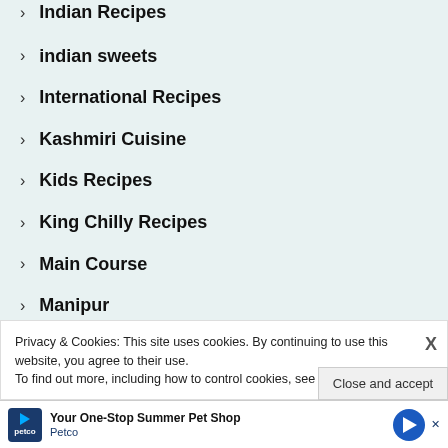Indian Recipes
indian sweets
International Recipes
Kashmiri Cuisine
Kids Recipes
King Chilly Recipes
Main Course
Manipur
Privacy & Cookies: This site uses cookies. By continuing to use this website, you agree to their use.
To find out more, including how to control cookies, see here: Cookie Policy
Close and accept
Your One-Stop Summer Pet Shop
Petco